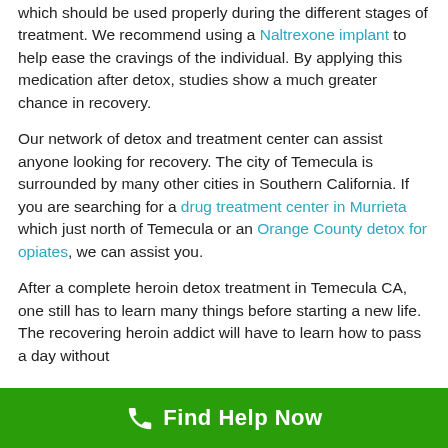which should be used properly during the different stages of treatment. We recommend using a Naltrexone implant to help ease the cravings of the individual. By applying this medication after detox, studies show a much greater chance in recovery.
Our network of detox and treatment center can assist anyone looking for recovery. The city of Temecula is surrounded by many other cities in Southern California. If you are searching for a drug treatment center in Murrieta which just north of Temecula or an Orange County detox for opiates, we can assist you.
After a complete heroin detox treatment in Temecula CA, one still has to learn many things before starting a new life. The recovering heroin addict will have to learn how to pass a day without
Find Help Now